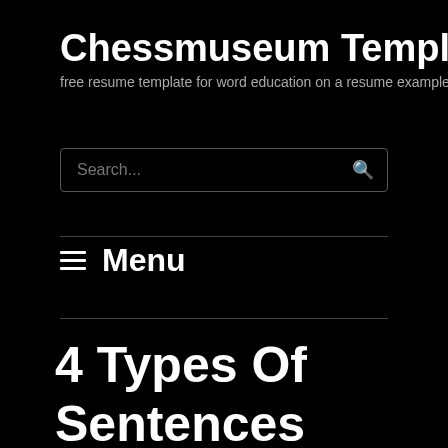Chessmuseum Template Libra
free resume template for word education on a resume example
4 Types Of Sentences Worksheet Best Of Practicing Four Kinds Of Sentences Worksheet